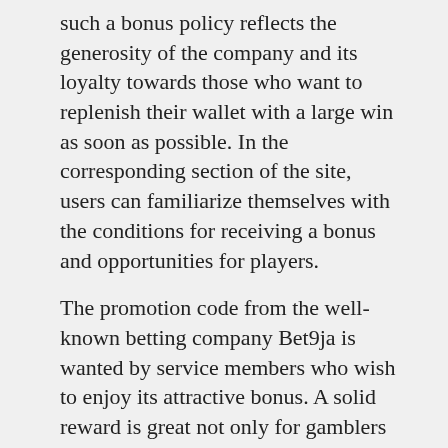such a bonus policy reflects the generosity of the company and its loyalty towards those who want to replenish their wallet with a large win as soon as possible. In the corresponding section of the site, users can familiarize themselves with the conditions for receiving a bonus and opportunities for players.
The promotion code from the well-known betting company Bet9ja is wanted by service members who wish to enjoy its attractive bonus. A solid reward is great not only for gamblers who love profitable bets. The generous bonus policy also significantly increases the rating of the online casino itself.
It is better to search for the coveted code by referring to the following sources: